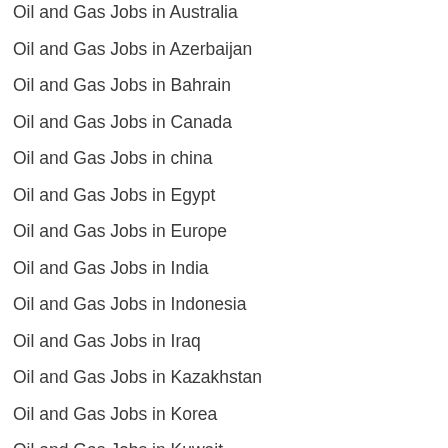Oil and Gas Jobs in Australia
Oil and Gas Jobs in Azerbaijan
Oil and Gas Jobs in Bahrain
Oil and Gas Jobs in Canada
Oil and Gas Jobs in china
Oil and Gas Jobs in Egypt
Oil and Gas Jobs in Europe
Oil and Gas Jobs in India
Oil and Gas Jobs in Indonesia
Oil and Gas Jobs in Iraq
Oil and Gas Jobs in Kazakhstan
Oil and Gas Jobs in Korea
Oil and Gas Jobs in Kuwait